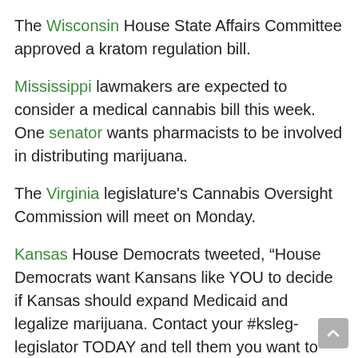The Wisconsin House State Affairs Committee approved a kratom regulation bill.
Mississippi lawmakers are expected to consider a medical cannabis bill this week. One senator wants pharmacists to be involved in distributing marijuana.
The Virginia legislature's Cannabis Oversight Commission will meet on Monday.
Kansas House Democrats tweeted, “House Democrats want Kansans like YOU to decide if Kansas should expand Medicaid and legalize marijuana. Contact your #ksleg-legislator TODAY and tell them you want to vote on issues that affect your life and your health.”